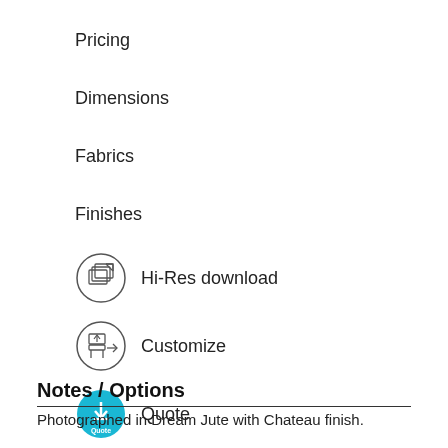Pricing
Dimensions
Fabrics
Finishes
[Figure (illustration): Circle icon with layered pages graphic, labeled Hi-Res download]
[Figure (illustration): Circle icon with chair/furniture customization graphic, labeled Customize]
[Figure (illustration): Teal/blue filled circle with download arrow and Quote text, labeled Quote]
Notes / Options
Photographed in Dream Jute with Chateau finish.